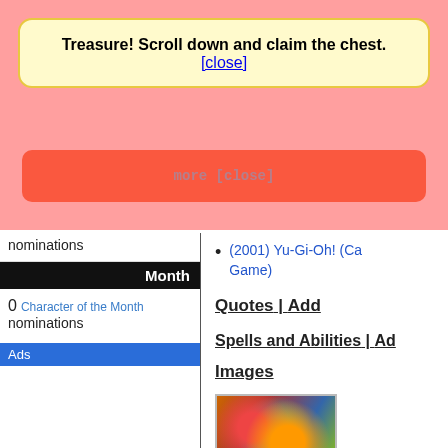Treasure! Scroll down and claim the chest. [close]
nominations
Month
0 Character of the Month nominations
Ads
(2001) Yu-Gi-Oh! (Card Game)
Quotes | Add
Spells and Abilities | Add
Images
[Figure (illustration): Anime-style character illustration, colorful with green and orange tones]